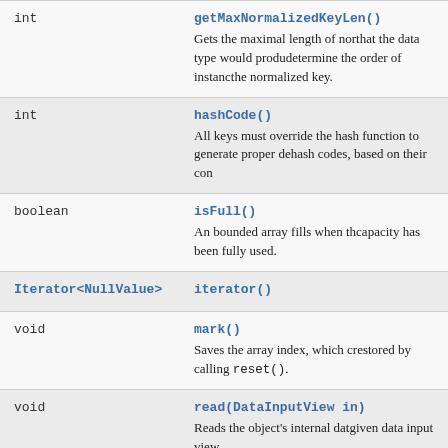| Type | Method and Description |
| --- | --- |
| int | getMaxNormalizedKeyLen()
Gets the maximal length of nor... that the data type would produ... determine the order of instanc... the normalized key. |
| int | hashCode()
All keys must override the hash function to generate proper de... hash codes, based on their con... |
| boolean | isFull()
An bounded array fills when th... capacity has been fully used. |
| Iterator<NullValue> | iterator() |
| void | mark()
Saves the array index, which c... restored by calling reset(). |
| void | read(DataInputView in)
Reads the object's internal dat... given data input view. |